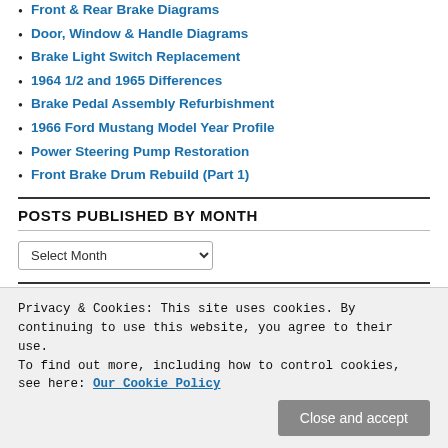Front & Rear Brake Diagrams
Door, Window & Handle Diagrams
Brake Light Switch Replacement
1964 1/2 and 1965 Differences
Brake Pedal Assembly Refurbishment
1966 Ford Mustang Model Year Profile
Power Steering Pump Restoration
Front Brake Drum Rebuild (Part 1)
POSTS PUBLISHED BY MONTH
Select Month
BACKING OUT, TURN UP THE VOLUME 👍
Privacy & Cookies: This site uses cookies. By continuing to use this website, you agree to their use.
To find out more, including how to control cookies, see here: Our Cookie Policy